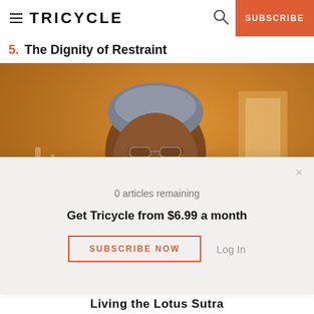TRICYCLE  SUBSCRIBE
5. The Dignity of Restraint
[Figure (photo): An elderly Black woman wearing glasses and a dark brown Zen Buddhist robe with white kesa, seated and gesturing, in a warm orange-toned meditation room with a hanging scroll visible in the background.]
0 articles remaining
Get Tricycle from $6.99 a month
SUBSCRIBE NOW   Log In
Living the Lotus Sutra